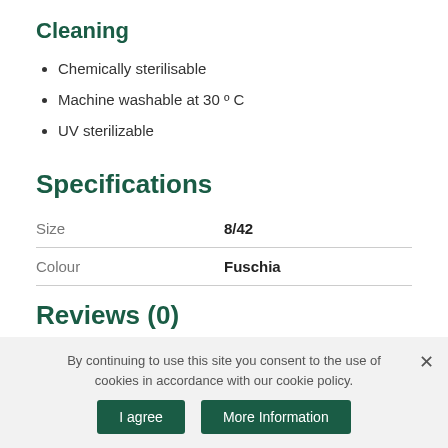Cleaning
Chemically sterilisable
Machine washable at 30 º C
UV sterilizable
Specifications
|  |  |
| --- | --- |
| Size | 8/42 |
| Colour | Fuschia |
Reviews (0)
Write a review
By continuing to use this site you consent to the use of cookies in accordance with our cookie policy.
I agree
More Information